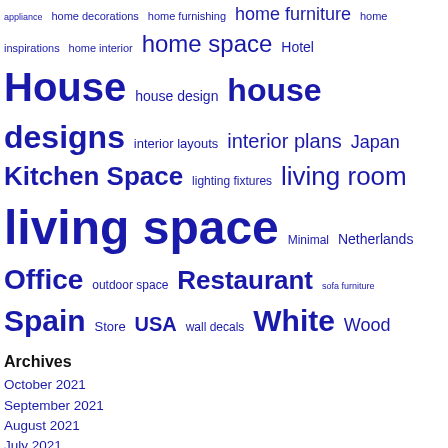[Figure (other): Tag cloud with terms related to home interior/design in varying font sizes, all in dark blue/indigo color. Terms include: appliance, home decorations, home furnishing, home furniture, home inspirations, home interior, home space, Hotel, House, house design, house designs, interior layouts, interior plans, Japan, Kitchen Space, lighting fixtures, living room, living space, Minimal, Netherlands, Office, outdoor space, Restaurant, sofa furniture, Spain, Store, USA, wall decals, White, Wood]
Archives
October 2021
September 2021
August 2021
July 2021
June 2021
May 2021
April 2021
March 2021
February 2021